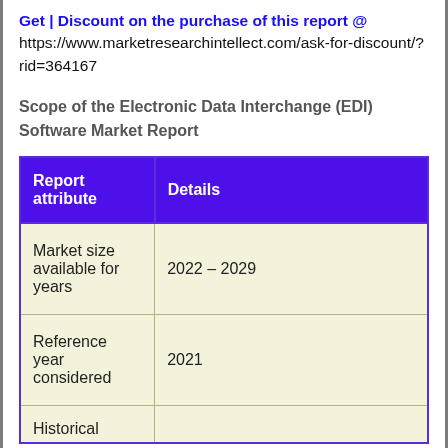Get | Discount on the purchase of this report @ https://www.marketresearchintellect.com/ask-for-discount/?rid=364167
Scope of the Electronic Data Interchange (EDI) Software Market Report
| Report attribute | Details |
| --- | --- |
| Market size available for years | 2022 – 2029 |
| Reference year considered | 2021 |
| Historical |  |